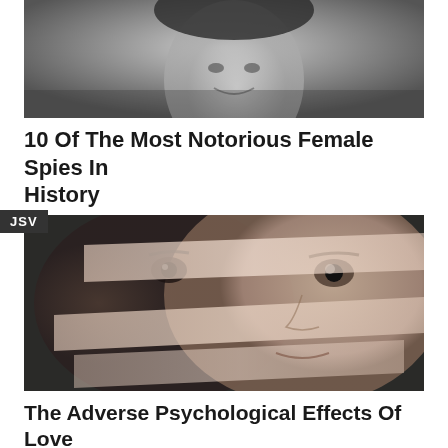[Figure (photo): Black and white photograph of a smiling woman, cropped to show face and upper body]
10 Of The Most Notorious Female Spies In History
HERBEAUTY
JSV
[Figure (photo): Artistic composite photograph of two faces overlaid with transparent tape strips across the features, dark moody background]
The Adverse Psychological Effects Of Love
BRAINBERRIES